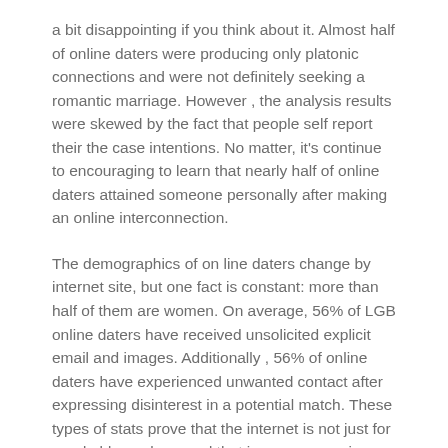a bit disappointing if you think about it. Almost half of online daters were producing only platonic connections and were not definitely seeking a romantic marriage. However , the analysis results were skewed by the fact that people self report their the case intentions. No matter, it's continue to encouraging to learn that nearly half of online daters attained someone personally after making an online interconnection.
The demographics of on line daters change by internet site, but one fact is constant: more than half of them are women. On average, 56% of LGB online daters have received unsolicited explicit email and images. Additionally , 56% of online daters have experienced unwanted contact after expressing disinterest in a potential match. These types of stats prove that the internet is not just for good old people — and that is an encouraging signal for the future.